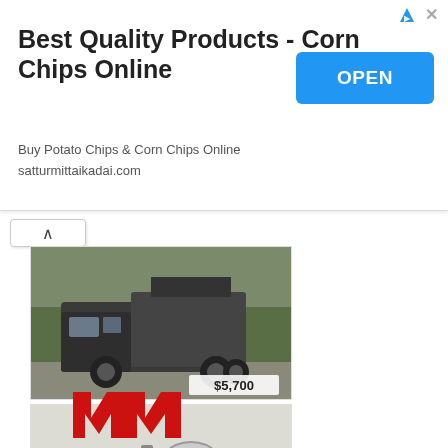[Figure (screenshot): Advertisement banner: Best Quality Products - Corn Chips Online. Buy Potato Chips & Corn Chips Online. satturmittaikadai.com. Blue OPEN button on right.]
[Figure (photo): Product listing card showing a military-style truck with camper, price $5,700]
[Figure (photo): Product listing card showing a miter saw / band saw tool, price $100]
[Figure (photo): Product listing card showing a trailer hitch receiver kit with hardware, price $70]
[Figure (logo): Red stylized M logo (Marathon or similar brand)]